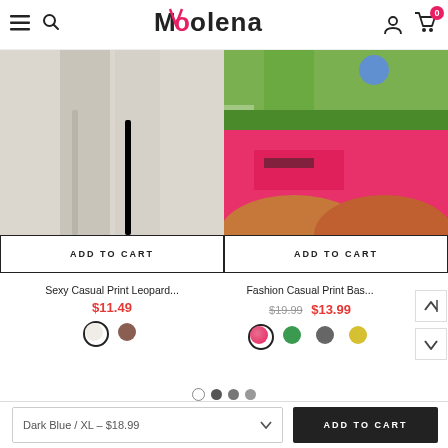Moolena — navigation header with hamburger menu, search, logo, user icon, cart (0)
[Figure (photo): Light gray/beige sweatpants product photo showing lower half]
[Figure (photo): Hot pink shorts with black graphic print, worn by a model outdoors]
ADD TO CART
ADD TO CART
Sexy Casual Print Leopard...
$11.49
Fashion Casual Print Bas...
$19.99  $13.99
Dark Blue / XL - $18.99  ADD TO CART